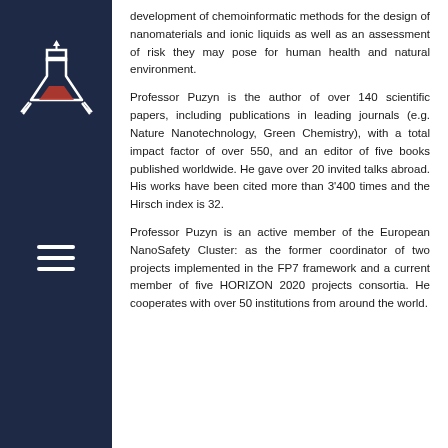[Figure (logo): Chemistry/science flask logo with arrows pointing outward, in white and red on dark navy background]
[Figure (illustration): Hamburger menu icon (three horizontal white lines) on dark navy background]
development of chemoinformatic methods for the design of nanomaterials and ionic liquids as well as an assessment of risk they may pose for human health and natural environment.
Professor Puzyn is the author of over 140 scientific papers, including publications in leading journals (e.g. Nature Nanotechnology, Green Chemistry), with a total impact factor of over 550, and an editor of five books published worldwide. He gave over 20 invited talks abroad. His works have been cited more than 3’400 times and the Hirsch index is 32.
Professor Puzyn is an active member of the European NanoSafety Cluster: as the former coordinator of two projects implemented in the FP7 framework and a current member of five HORIZON 2020 projects consortia. He cooperates with over 50 institutions from around the world.